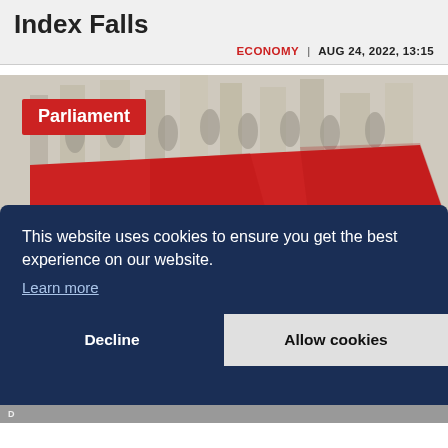Index Falls
ECONOMY | AUG 24, 2022, 13:15
[Figure (photo): Hungarian parliament building with Hungarian flag (red, white, green) waving in foreground. A red label overlay reads 'Parliament'.]
This website uses cookies to ensure you get the best experience on our website.
Learn more
Decline   Allow cookies